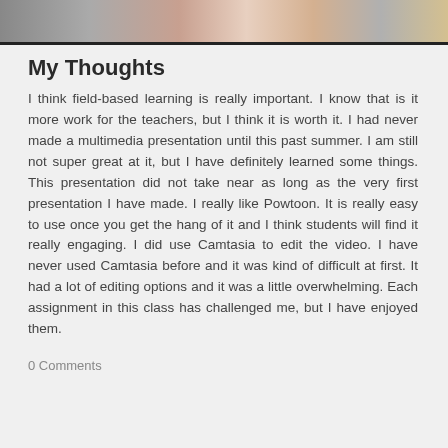[Figure (photo): Partial photo strip at top of page showing people in colorful clothing]
My Thoughts
I think field-based learning is really important. I know that is it more work for the teachers, but I think it is worth it. I had never made a multimedia presentation until this past summer. I am still not super great at it, but I have definitely learned some things. This presentation did not take near as long as the very first presentation I have made. I really like Powtoon. It is really easy to use once you get the hang of it and I think students will find it really engaging. I did use Camtasia to edit the video. I have never used Camtasia before and it was kind of difficult at first. It had a lot of editing options and it was a little overwhelming. Each assignment in this class has challenged me, but I have enjoyed them.
0 Comments